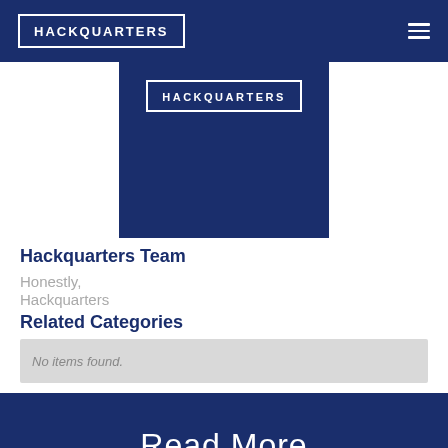HACKQUARTERS
[Figure (logo): Hackquarters logo on dark navy blue background]
Hackquarters Team
Honestly,
Hackquarters
Related Categories
No items found.
Read More